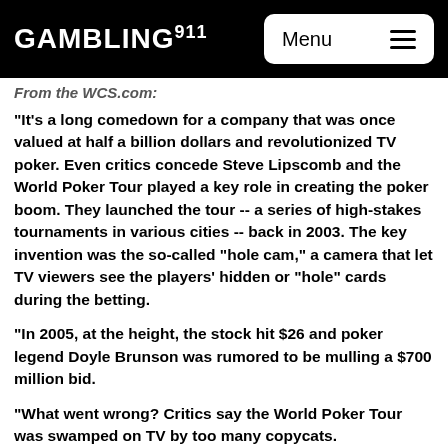GAMBLING911 Menu
From the WCS.com:
"It's a long comedown for a company that was once valued at half a billion dollars and revolutionized TV poker. Even critics concede Steve Lipscomb and the World Poker Tour played a key role in creating the poker boom. They launched the tour -- a series of high-stakes tournaments in various cities -- back in 2003. The key invention was the so-called "hole cam," a camera that let TV viewers see the players' hidden or "hole" cards during the betting.
"In 2005, at the height, the stock hit $26 and poker legend Doyle Brunson was rumored to be mulling a $700 million bid.
"What went wrong? Critics say the World Poker Tour was swamped on TV by too many copycats.